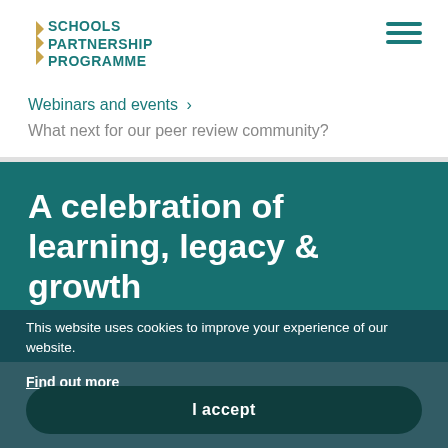SCHOOLS PARTNERSHIP PROGRAMME
Webinars and events ›
What next for our peer review community?
A celebration of learning, legacy & growth
This website uses cookies to improve your experience of our website.
Find out more
I accept